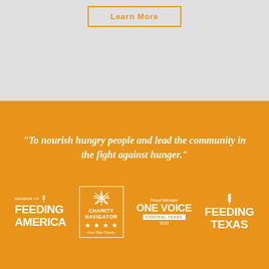[Figure (other): Learn More button with orange border on gray background]
"To nourish hungry people and lead the community in the fight against hunger."
[Figure (logo): Member of Feeding America logo (white on orange)]
[Figure (logo): Charity Navigator Four Star Charity badge (white border box on orange)]
[Figure (logo): Proud Member One Voice Central Texas 2016 logo (white on orange)]
[Figure (logo): Feeding Texas logo (white on orange)]